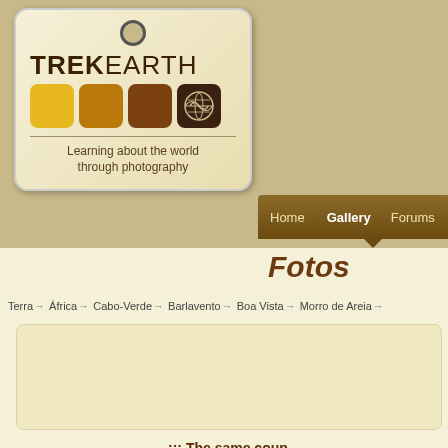[Figure (logo): TrekEarth logo tag with colorful squares and world map icon, tagline: Learning about the world through photography]
Home   Gallery   Forums   C…
Fotos
Terra → África → Cabo-Verde → Barlavento → Boa Vista → Morro de Areia →
::: The same coup